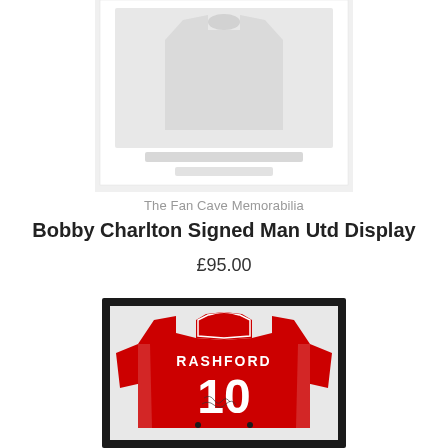[Figure (photo): Partial top view of a framed signed Man Utd display product image (cropped at top of page)]
The Fan Cave Memorabilia
Bobby Charlton Signed Man Utd Display
£95.00
[Figure (photo): Framed Manchester United Rashford #10 signed football shirt in a black display frame with white/light grey mat. The red shirt shows 'RASHFORD' across the back and the number 10, with a signature visible on the shirt.]